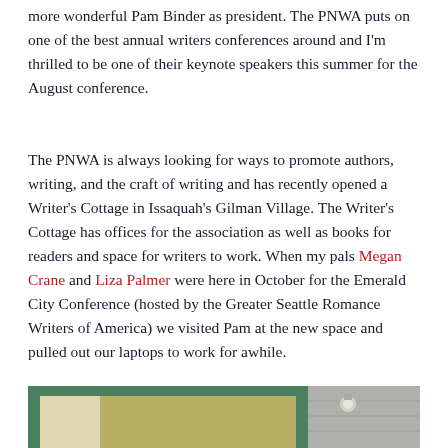more wonderful Pam Binder as president. The PNWA puts on one of the best annual writers conferences around and I'm thrilled to be one of their keynote speakers this summer for the August conference.
The PNWA is always looking for ways to promote authors, writing, and the craft of writing and has recently opened a Writer's Cottage in Issaquah's Gilman Village. The Writer's Cottage has offices for the association as well as books for readers and space for writers to work. When my pals Megan Crane and Liza Palmer were here in October for the Emerald City Conference (hosted by the Greater Seattle Romance Writers of America) we visited Pam at the new space and pulled out our laptops to work for awhile.
[Figure (photo): A partial photo showing a green door frame or window frame of a building, with orange/yellow wall visible and a light fixture, likely the Writer's Cottage exterior.]